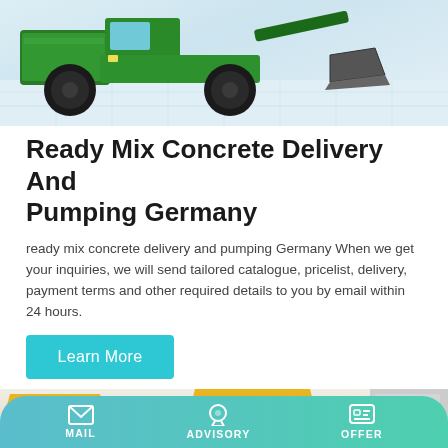[Figure (photo): Green wheeled loader/concrete mixer machine with a large bucket attachment, photographed against a light gray tiled floor background]
Ready Mix Concrete Delivery And Pumping Germany
ready mix concrete delivery and pumping Germany When we get your inquiries, we will send tailored catalogue, pricelist, delivery, payment terms and other required details to you by email within 24 hours.
[Figure (photo): Yellow industrial concrete hoppers/buckets photographed outdoors near a building]
MAIL   ADVISORY   OFFER